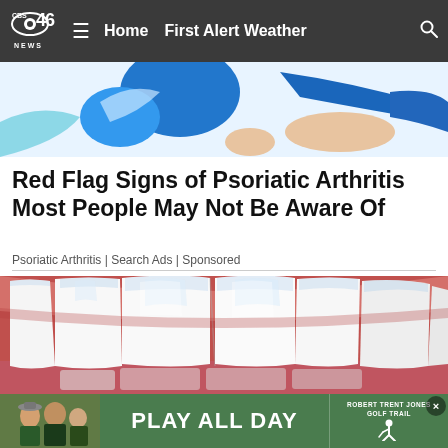CBS 46 NEWS | Home | First Alert Weather
[Figure (illustration): Colorful illustration showing a person in blue clothing, partial view, likely a medical advertisement graphic]
Red Flag Signs of Psoriatic Arthritis Most People May Not Be Aware Of
Psoriatic Arthritis | Search Ads | Sponsored
[Figure (photo): Close-up photo of human teeth showing white upper front teeth against pink gums and lips]
[Figure (illustration): Bottom advertisement banner: photo of people on left, green banner reading PLAY ALL DAY, Robert Trent Jones Golf Trail logo on right]